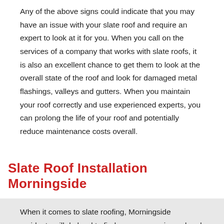Any of the above signs could indicate that you may have an issue with your slate roof and require an expert to look at it for you. When you call on the services of a company that works with slate roofs, it is also an excellent chance to get them to look at the overall state of the roof and look for damaged metal flashings, valleys and gutters. When you maintain your roof correctly and use experienced experts, you can prolong the life of your roof and potentially reduce maintenance costs overall.
Slate Roof Installation Morningside
When it comes to slate roofing, Morningside residents will do hard to find a more experienced and qualified than Visible Improvements. A slate roof brings an tic quality to your house and can help to increase both the cur